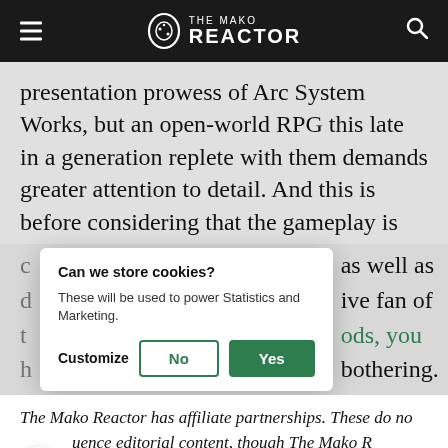THE MAKO REACTOR
presentation prowess of Arc System Works, but an open-world RPG this late in a generation replete with them demands greater attention to detail. And this is before considering that the gameplay is
Can we store cookies? These will be used to power Statistics and Marketing. Customize No Yes
The Mako Reactor has affiliate partnerships. These do not influence editorial content, though The Mako Reactor may earn commissions for products purchased via affiliate links.